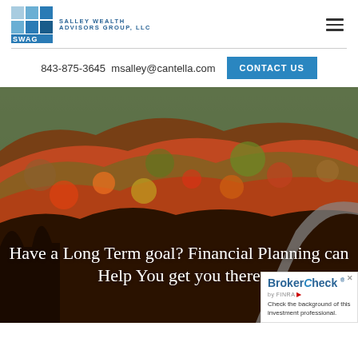[Figure (logo): SWAG Salley Wealth Advisors Group, LLC logo with blue square grid icon and company name]
843-875-3645  msalley@cantella.com
CONTACT US
[Figure (photo): Aerial view of a forested hillside in autumn colors (red, orange, yellow, green) with a winding road, overlaid with white text: 'Have a Long Term goal? Financial Planning can Help You get you there']
Have a Long Term goal? Financial Planning can Help You get you there
BrokerCheck by FINRA — Check the background of this investment professional.